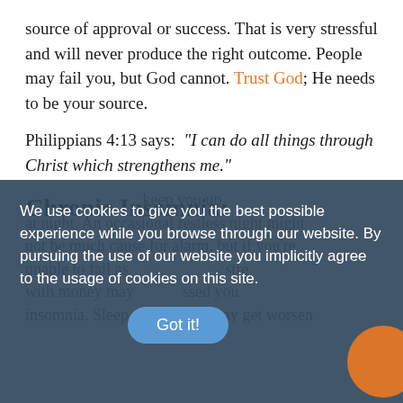source of approval or success. That is very stressful and will never produce the right outcome. People may fail you, but God cannot. Trust God; He needs to be your source.
Philippians 4:13 says: “I can do all things through Christ which strengthens me.”
Chronic Insomnia:
We use cookies to give you the best possible experience while you browse through our website. By pursuing the use of our website you implicitly agree to the usage of cookies on this site.
Got it!